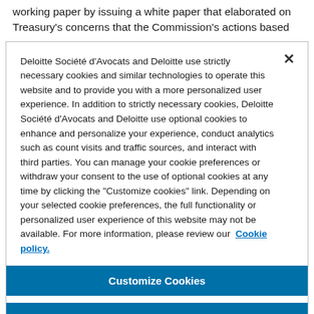working paper by issuing a white paper that elaborated on Treasury's concerns that the Commission's actions based
Deloitte Société d'Avocats and Deloitte use strictly necessary cookies and similar technologies to operate this website and to provide you with a more personalized user experience. In addition to strictly necessary cookies, Deloitte Société d'Avocats and Deloitte use optional cookies to enhance and personalize your experience, conduct analytics such as count visits and traffic sources, and interact with third parties. You can manage your cookie preferences or withdraw your consent to the use of optional cookies at any time by clicking the "Customize cookies" link. Depending on your selected cookie preferences, the full functionality or personalized user experience of this website may not be available. For more information, please review our Cookie policy.
Customize Cookies
Reject All